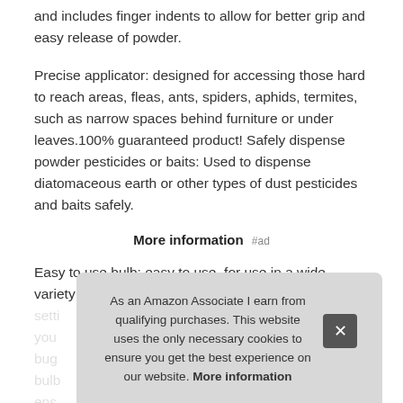and includes finger indents to allow for better grip and easy release of powder.
Precise applicator: designed for accessing those hard to reach areas, fleas, ants, spiders, aphids, termites, such as narrow spaces behind furniture or under leaves.100% guaranteed product! Safely dispense powder pesticides or baits: Used to dispense diatomaceous earth or other types of dust pesticides and baits safely.
More information #ad
Easy to use bulb: easy to use, for use in a wide variety of settings...
As an Amazon Associate I earn from qualifying purchases. This website uses the only necessary cookies to ensure you get the best experience on our website. More information